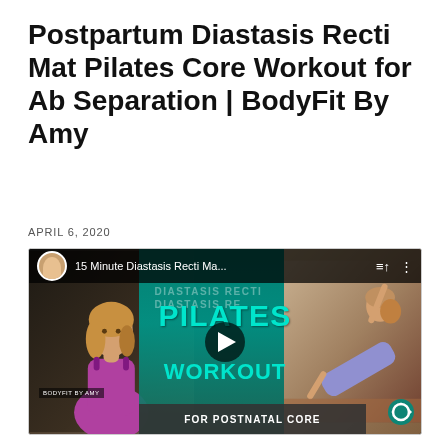Postpartum Diastasis Recti Mat Pilates Core Workout for Ab Separation | BodyFit By Amy
APRIL 6, 2020
[Figure (screenshot): YouTube video thumbnail for '15 Minute Diastasis Recti Ma...' showing a woman in a purple top on the left, large green 'PILATES WORKOUT' text in the center on a teal background, and a woman doing a side plank on the right. A play button is centered. Bottom banner reads 'FOR POSTNATAL CORE'.]